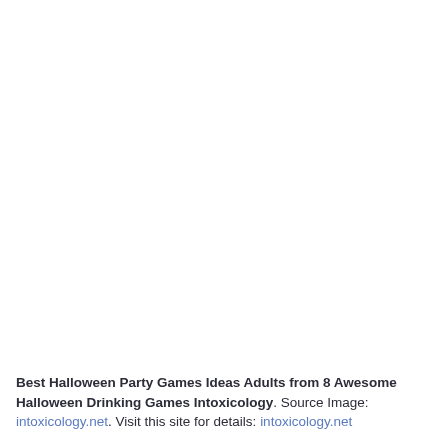Best Halloween Party Games Ideas Adults from 8 Awesome Halloween Drinking Games Intoxicology. Source Image: intoxicology.net. Visit this site for details: intoxicology.net